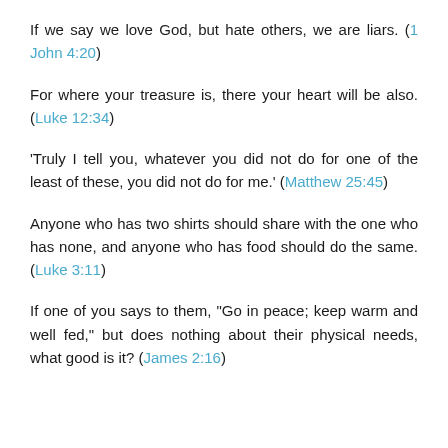If we say we love God, but hate others, we are liars. (1 John 4:20)
For where your treasure is, there your heart will be also. (Luke 12:34)
‘Truly I tell you, whatever you did not do for one of the least of these, you did not do for me.’ (Matthew 25:45)
Anyone who has two shirts should share with the one who has none, and anyone who has food should do the same. (Luke 3:11)
If one of you says to them, “Go in peace; keep warm and well fed,” but does nothing about their physical needs, what good is it? (James 2:16)